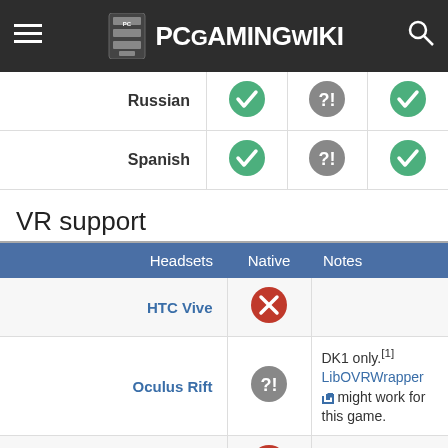PCGamingWiki
| Language |  |  |  |
| --- | --- | --- | --- |
| Russian | ✓ | ?! | ✓ |
| Spanish | ✓ | ?! | ✓ |
VR support
| Headsets | Native | Notes |
| --- | --- | --- |
| HTC Vive | ✗ |  |
| Oculus Rift | ?! | DK1 only.[1] LibOVRWrapper might work for this game. |
| OSVR | ✗ |  |
| Windows Mixed Reality | ?! |  |
| Devices | Native | Notes |